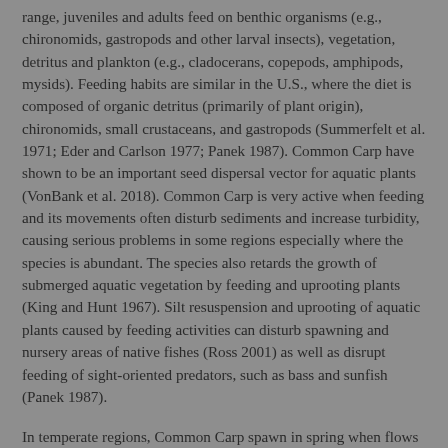range, juveniles and adults feed on benthic organisms (e.g., chironomids, gastropods and other larval insects), vegetation, detritus and plankton (e.g., cladocerans, copepods, amphipods, mysids). Feeding habits are similar in the U.S., where the diet is composed of organic detritus (primarily of plant origin), chironomids, small crustaceans, and gastropods (Summerfelt et al. 1971; Eder and Carlson 1977; Panek 1987). Common Carp have shown to be an important seed dispersal vector for aquatic plants (VonBank et al. 2018). Common Carp is very active when feeding and its movements often disturb sediments and increase turbidity, causing serious problems in some regions especially where the species is abundant. The species also retards the growth of submerged aquatic vegetation by feeding and uprooting plants (King and Hunt 1967). Silt resuspension and uprooting of aquatic plants caused by feeding activities can disturb spawning and nursery areas of native fishes (Ross 2001) as well as disrupt feeding of sight-oriented predators, such as bass and sunfish (Panek 1987).
In temperate regions, Common Carp spawn in spring when flows are high. Spawning occurs in submerged vegetation, plant debris, stones, and in artificial substrate. In more tropical climates Common Carp can spawn year round (Adámek et al. 2015). Females reach sexual maturity after 3–5 years and scatter sticky unfertilized eggs amongst vegetation. Relative fecundity can range